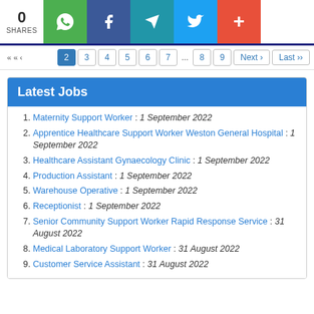0 SHARES | WhatsApp | Facebook | Telegram | Twitter | More
Pagination: Next › Last ›› ...
Latest Jobs
1. Maternity Support Worker : 1 September 2022
2. Apprentice Healthcare Support Worker Weston General Hospital : 1 September 2022
3. Healthcare Assistant Gynaecology Clinic : 1 September 2022
4. Production Assistant : 1 September 2022
5. Warehouse Operative : 1 September 2022
6. Receptionist : 1 September 2022
7. Senior Community Support Worker Rapid Response Service : 31 August 2022
8. Medical Laboratory Support Worker : 31 August 2022
9. Customer Service Assistant : 31 August 2022